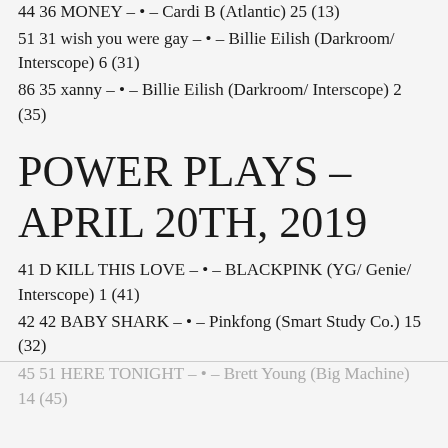44 36 MONEY – • – Cardi B (Atlantic) 25 (13)
51 31 wish you were gay – • – Billie Eilish (Darkroom/ Interscope) 6 (31)
86 35 xanny – • – Billie Eilish (Darkroom/ Interscope) 2 (35)
POWER PLAYS – APRIL 20TH, 2019
41 D KILL THIS LOVE – • – BLACKPINK (YG/ Genie/ Interscope) 1 (41)
42 42 BABY SHARK – • – Pinkfong (Smart Study Co.) 15 (32)
45 51 HERE TONIGHT – • – Brett Young (Big Machine) 14 (45)